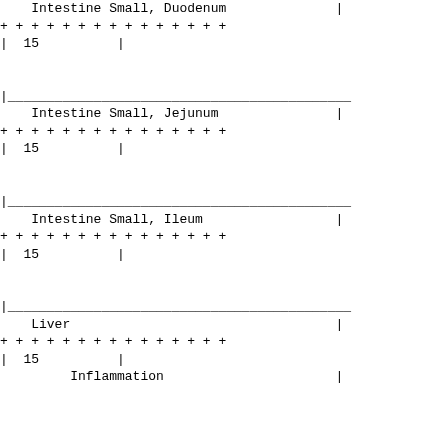| Intestine Small, Duodenum | | |
| + + + + + + + + + + + + + + + |
| | 15          | |
| |___________________________________________ |
| Intestine Small, Jejunum | | |
| + + + + + + + + + + + + + + + |
| | 15          | |
| |___________________________________________ |
| Intestine Small, Ileum | | |
| + + + + + + + + + + + + + + + |
| | 15          | |
| |___________________________________________ |
| Liver | | |
| + + + + + + + + + + + + + + + |
| | 15          | |
|      Inflammation | | |